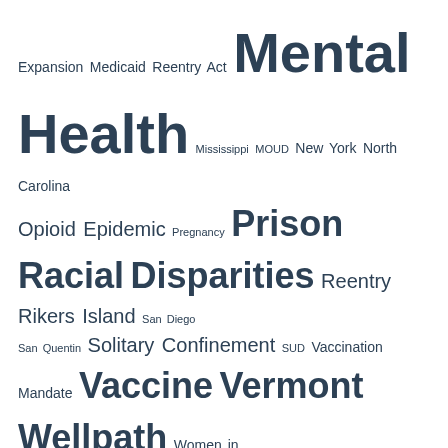Expansion Medicaid Reentry Act Mental Health Mississippi MOUD New York North Carolina Opioid Epidemic Pregnancy Prison Racial Disparities Reentry Rikers Island San Diego San Quentin Solitary Confinement SUD Vaccination Mandate Vaccine Vermont Wellpath Women in Corrections
Copyright © 2022 Community Oriented Correctional Health Services 675 61st Street Oakland, CA 94609 Tel: 510 595 7360 info@COCHS.org